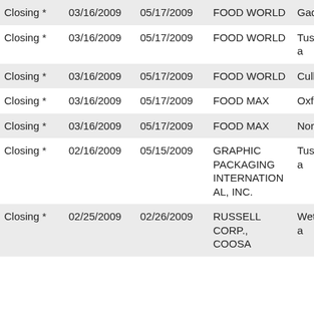| Closing * | 03/16/2009 | 05/17/2009 | FOOD WORLD | Gadsden | 35 |
| Closing * | 03/16/2009 | 05/17/2009 | FOOD WORLD | Tuscaloosa | 64 |
| Closing * | 03/16/2009 | 05/17/2009 | FOOD WORLD | Cullman | 49 |
| Closing * | 03/16/2009 | 05/17/2009 | FOOD MAX | Oxford | 50 |
| Closing * | 03/16/2009 | 05/17/2009 | FOOD MAX | Northport | 58 |
| Closing * | 02/16/2009 | 05/15/2009 | GRAPHIC PACKAGING INTERNATIONAL, INC. | Tuscaloosa | 87 |
| Closing * | 02/25/2009 | 02/26/2009 | RUSSELL CORP., COOSA | Wetumpka | 138 |